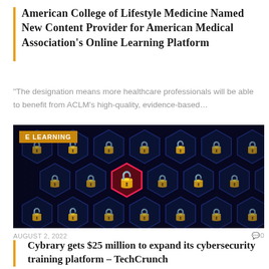American College of Lifestyle Medicine Named New Content Provider for American Medical Association's Online Learning Platform
“The designation means more healthcare professionals will be able to benefit from ACLM’s high-quality, evidence-based…
[Figure (photo): Honeycomb grid of neon padlock icons on dark background, one red open lock prominent in the center, tagged with 'E LEARNING' badge]
AUGUST 2, 2022
Cybrary gets $25 million to expand its cybersecurity training platform – TechCrunch